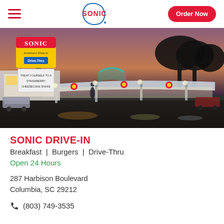SONIC | Order Now
[Figure (photo): Sonic Drive-In restaurant at dusk/night with illuminated sign reading 'TREAT YOURSELF TO A STRAWBERRY CHEESECAKE SHAKE', covered drive-in stalls lit up, cars in parking lot, wet pavement reflecting lights.]
SONIC DRIVE-IN
Breakfast  |  Burgers  |  Drive-Thru
Open 24 Hours
287 Harbison Boulevard
Columbia, SC 29212
(803) 749-3535